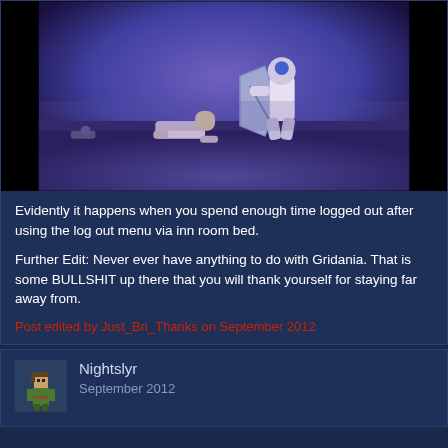[Figure (screenshot): Game screenshot showing two characters in a purple-tinted environment, one character appears to be knocked down or falling]
Evidently it happens when you spend enough time logged out after using the log out menu via inn room bed.
Further Edit: Never ever have anything to do with Gridania. That is some BULLSHIT up there that you will thank yourself for staying far away from.
Post edited by Just_Bri_Thanks on September 2012
[Figure (illustration): Small pixel art avatar of a character]
Nightslyr
September 2012